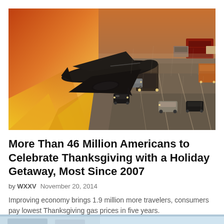[Figure (photo): Composite image showing a commercial airplane taking off against a warm orange/yellow sky on the left, and heavy highway traffic with trucks and cars in snowy/rainy conditions on the right]
More Than 46 Million Americans to Celebrate Thanksgiving with a Holiday Getaway, Most Since 2007
by WXXV   November 20, 2014
Improving economy brings 1.9 million more travelers, consumers pay lowest Thanksgiving gas prices in five years.
[Figure (photo): Partial bottom strip showing what appears to be another travel-related image, cropped at the bottom of the page]